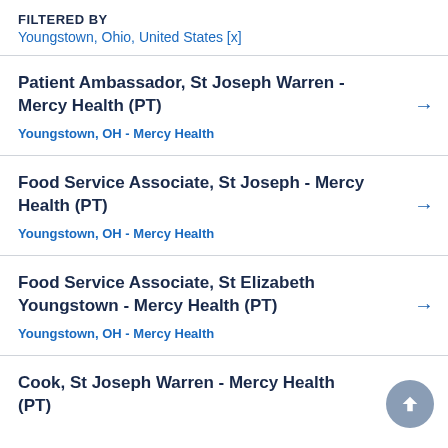FILTERED BY
Youngstown, Ohio, United States [x]
Patient Ambassador, St Joseph Warren - Mercy Health (PT)
Youngstown, OH - Mercy Health
Food Service Associate, St Joseph - Mercy Health (PT)
Youngstown, OH - Mercy Health
Food Service Associate, St Elizabeth Youngstown - Mercy Health (PT)
Youngstown, OH - Mercy Health
Cook, St Joseph Warren - Mercy Health (PT)